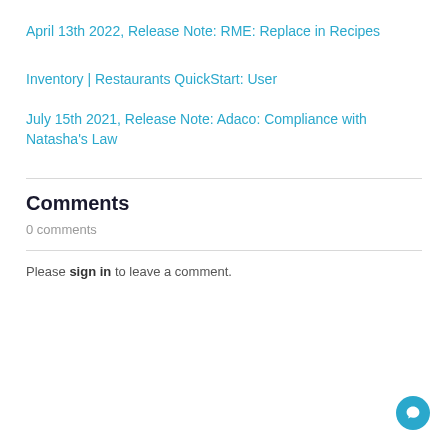April 13th 2022, Release Note: RME: Replace in Recipes
Inventory | Restaurants QuickStart: User
July 15th 2021, Release Note: Adaco: Compliance with Natasha's Law
Comments
0 comments
Please sign in to leave a comment.